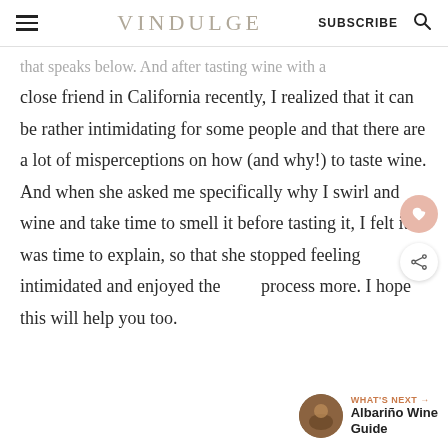VINDULGE | SUBSCRIBE
…that speaks below. And after tasting wine with a close friend in California recently, I realized that it can be rather intimidating for some people and that there are a lot of misperceptions on how (and why!) to taste wine. And when she asked me specifically why I swirl and wine and take time to smell it before tasting it, I felt it was time to explain, so that she stopped feeling intimidated and enjoyed the process more. I hope this will help you too.
WHAT'S NEXT → Albariño Wine Guide